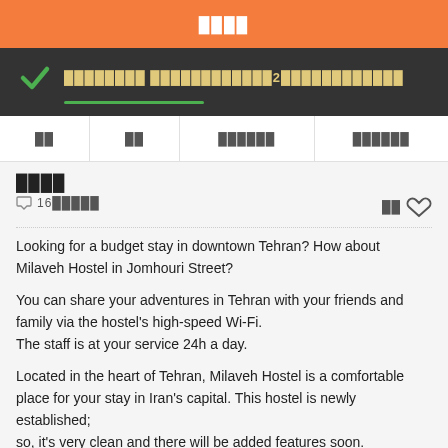████
████████ ████████████2████████████
██ ██ ██████ ██████
████
○ 16█████
Looking for a budget stay in downtown Tehran? How about Milaveh Hostel in Jomhouri Street?
You can share your adventures in Tehran with your friends and family via the hostel's high-speed Wi-Fi.
The staff is at your service 24h a day.
Located in the heart of Tehran, Milaveh Hostel is a comfortable place for your stay in Iran's capital. This hostel is newly established; so, it's very clean and there will be added features soon.
███████